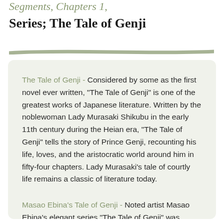Segments, Chapters 1,
Series; The Tale of Genji
[Figure (illustration): A thin diagonal brushstroke in muted sage green, tapering from left to right, used as a decorative divider.]
The Tale of Genji - Considered by some as the first novel ever written, "The Tale of Genji" is one of the greatest works of Japanese literature. Written by the noblewoman Lady Murasaki Shikubu in the early 11th century during the Heian era, "The Tale of Genji" tells the story of Prince Genji, recounting his life, loves, and the aristocratic world around him in fifty-four chapters. Lady Murasaki's tale of courtly life remains a classic of literature today.
Masao Ebina's Tale of Genji - Noted artist Masao Ebina's elegant series "The Tale of Genji" was